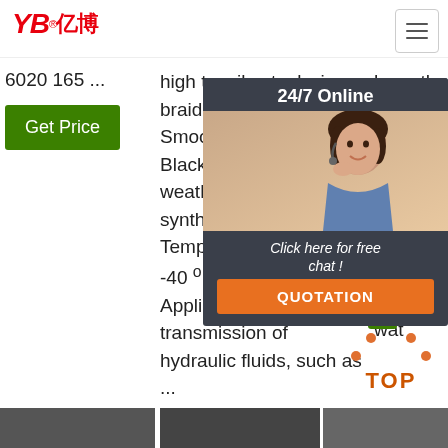[Figure (logo): YB亿博 company logo in red italic text]
6020 165 ...
high tensile steel wire braid . Cover: Smooth/wrapped, Black, Oil, Abrasion and weather resistant synthetic rubber . Temperature Range: -40 º C to +100 º C. Applications: for transmission of hydraulic fluids, such as ...
have the same cover and core. The core... resi... rubb... cov... syn... resi... wat...
[Figure (photo): Customer service representative with headset, smiling]
24/7 Online
Click here for free chat !
QUOTATION
Get Price
Get Price
[Figure (illustration): TOP navigation icon with dots above text]